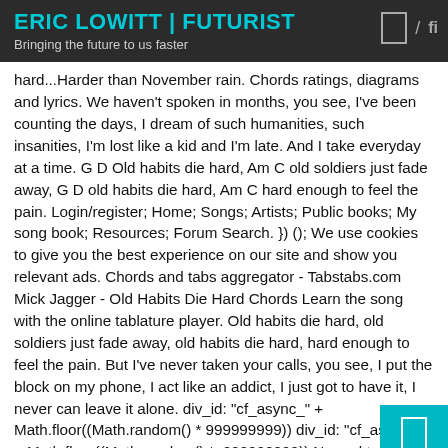ERIC LOWITT | FUTURIST
Bringing the future to us faster
hard...Harder than November rain. Chords ratings, diagrams and lyrics. We haven't spoken in months, you see, I've been counting the days, I dream of such humanities, such insanities, I'm lost like a kid and I'm late. And I take everyday at a time. G D Old habits die hard, Am C old soldiers just fade away, G D old habits die hard, Am C hard enough to feel the pain. Login/register; Home; Songs; Artists; Public books; My song book; Resources; Forum Search. }) (); We use cookies to give you the best experience on our site and show you relevant ads. Chords and tabs aggregator - Tabstabs.com Mick Jagger - Old Habits Die Hard Chords Learn the song with the online tablature player. Old habits die hard, old soldiers just fade away, old habits die hard, hard enough to feel the pain. But I've never taken your calls, you see, I put the block on my phone, I act like an addict, I just got to have it, I never can leave it alone. div_id: "cf_async_" + Math.floor((Math.random() * 999999999)) div_id: "cf_async_" + Math.floor((Math.random() * 999999999)) Normal tuning [G] You look like shit so dear my brother. Chords for Old Habits Die Hard by Mick Jagger. Old Habits